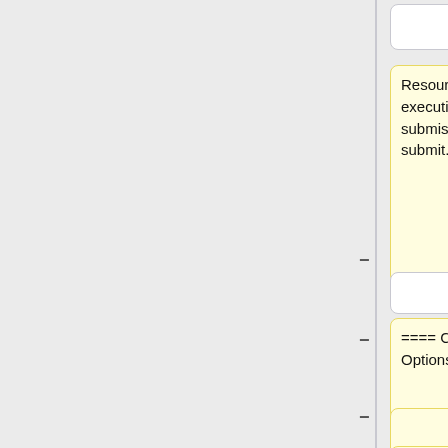[Figure (flowchart): Wiki diff-style comparison interface showing two columns of content blocks. Left column (yellow boxes) shows removed/changed content with minus signs, right column (blue boxes) shows added content with plus signs. Top row has two empty white boxes. Second row: yellow box with 'Resources needed for program execution are specified by submission options in a job file to submit.' and blue box with 'For more information, visit [https://hprc.tamu.edu/wiki/SW:tamulauncher#tamulauncher this page.]'. Third row: two small empty white boxes. Fourth row: yellow box with '==== Common Submission Options ====' and blue box with '[[ Category:Ada ]]'. Fifth row: one small empty yellow-bordered box. Sixth row: yellow box with 'Below are the common submission options. These options can be']